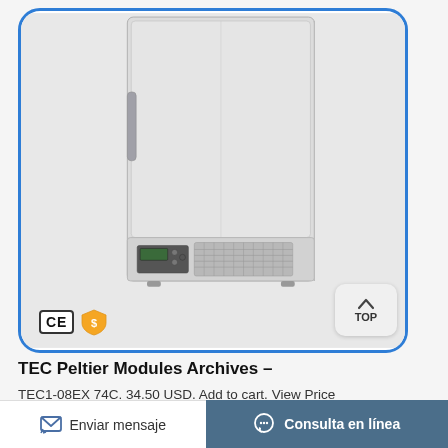[Figure (photo): A laboratory ultra-low temperature freezer/refrigerator unit with white exterior, front door with handle, ventilation grille at the bottom, and control panel. CE certification mark and a gold shield/dollar icon badge are visible at the bottom left of the card. A 'TOP' navigation button appears at the bottom right of the blue-bordered card.]
TEC Peltier Modules Archives –
TEC1-08EX 74C. 34.50 USD. Add to cart. View Price
Enviar mensaje
Consulta en línea